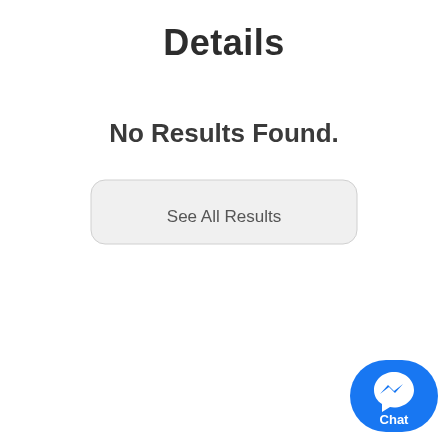Details
No Results Found.
[Figure (screenshot): A rounded rectangular button with light gray background labeled 'See All Results']
[Figure (screenshot): Facebook Messenger chat button in bottom-right corner — blue rounded pill shape with messenger icon and 'Chat' label]